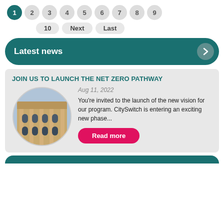1 2 3 4 5 6 7 8 9 | 10 Next Last
Latest news
JOIN US TO LAUNCH THE NET ZERO PATHWAY
[Figure (photo): Circular photo of a historic building facade with arched windows]
Aug 11, 2022
You're invited to the launch of the new vision for our program. CitySwitch is entering an exciting new phase...
Read more